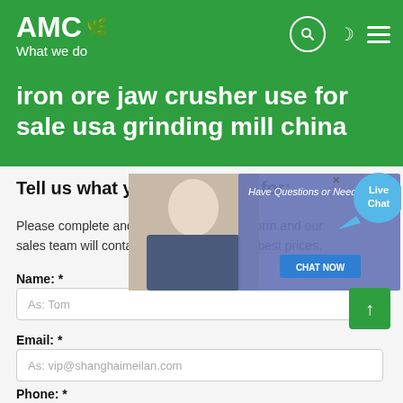AMC — What we do
iron ore jaw crusher use for sale usa grinding mill china
[Figure (screenshot): Live chat popup banner with customer service representative photo, text 'Have Questions or Need a Quote?', a 'CHAT NOW' button, and a 'Live Chat' speech bubble icon in the top right.]
Tell us what you are looking for:
Please complete and submit the following form and our sales team will contact you shortly with our best prices.
Name: *  (input placeholder: As: Tom)
Email: *  (input placeholder: As: vip@shanghaimeilan.com)
Phone: *